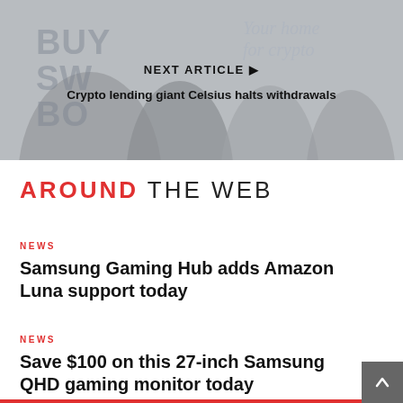[Figure (photo): A banner for a next article about crypto, showing people at what appears to be a conference or trade show, with text 'Your home for crypto' visible in the background. Overlaid with 'NEXT ARTICLE' label and article title.]
NEXT ARTICLE ▶
Crypto lending giant Celsius halts withdrawals
AROUND THE WEB
NEWS
Samsung Gaming Hub adds Amazon Luna support today
NEWS
Save $100 on this 27-inch Samsung QHD gaming monitor today